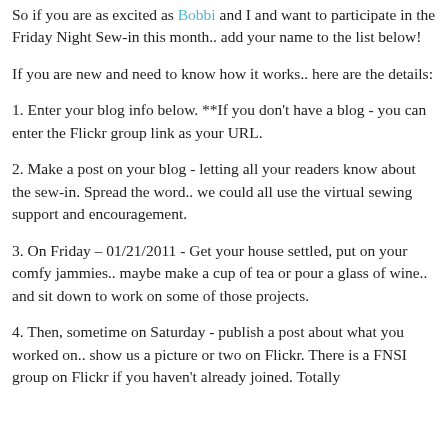So if you are as excited as Bobbi and I and want to participate in the Friday Night Sew-in this month.. add your name to the list below!
If you are new and need to know how it works.. here are the details:
1. Enter your blog info below. **If you don't have a blog - you can enter the Flickr group link as your URL.
2. Make a post on your blog - letting all your readers know about the sew-in. Spread the word.. we could all use the virtual sewing support and encouragement.
3. On Friday – 01/21/2011 - Get your house settled, put on your comfy jammies.. maybe make a cup of tea or pour a glass of wine.. and sit down to work on some of those projects.
4. Then, sometime on Saturday - publish a post about what you worked on.. show us a picture or two on Flickr. There is a FNSI group on Flickr if you haven't already joined. Totally